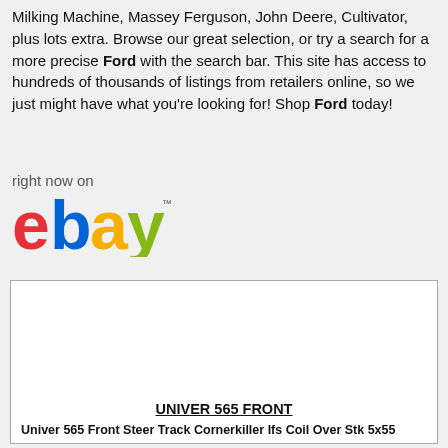Milking Machine, Massey Ferguson, John Deere, Cultivator, plus lots extra. Browse our great selection, or try a search for a more precise Ford with the search bar. This site has access to hundreds of thousands of listings from retailers online, so we just might have what you're looking for! Shop Ford today!
[Figure (logo): eBay logo with 'right now on' text above it]
[Figure (other): eBay listing card with blank image area, title UNIVER 565 FRONT, subtitle Univer 565 Front Steer Track Cornerkiller Ifs Coil Over Stk 5x55]
UNIVER 565 FRONT
Univer 565 Front Steer Track Cornerkiller Ifs Coil Over Stk 5x55